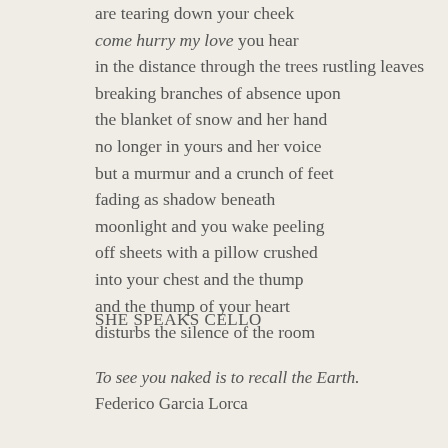are tearing down your cheek
come hurry my love you hear
in the distance through the trees rustling leaves
breaking branches of absence upon
the blanket of snow and her hand
no longer in yours and her voice
but a murmur and a crunch of feet
fading as shadow beneath
moonlight and you wake peeling
off sheets with a pillow crushed
into your chest and the thump
and the thump of your heart
disturbs the silence of the room
SHE SPEAKS CELLO
To see you naked is to recall the Earth.
Federico Garcia Lorca